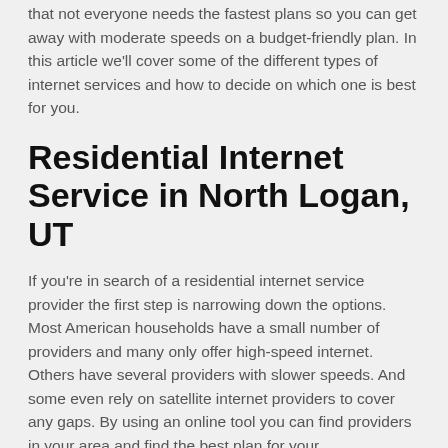that not everyone needs the fastest plans so you can get away with moderate speeds on a budget-friendly plan. In this article we'll cover some of the different types of internet services and how to decide on which one is best for you.
Residential Internet Service in North Logan, UT
If you're in search of a residential internet service provider the first step is narrowing down the options. Most American households have a small number of providers and many only offer high-speed internet. Others have several providers with slower speeds. And some even rely on satellite internet providers to cover any gaps. By using an online tool you can find providers in your area and find the best plan for your